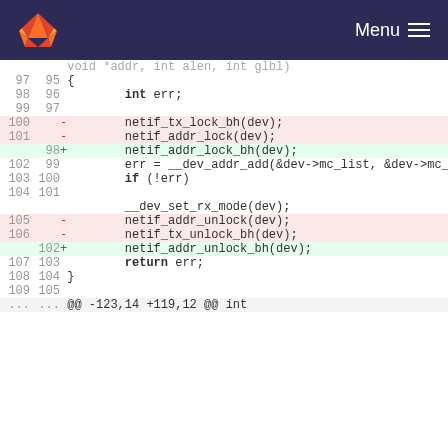GitLab — Menu
[Figure (screenshot): GitLab code diff view showing changes to a C source file. Lines 97-109 of old file and 95-105 of new file. Removed lines: netif_tx_lock_bh(dev), netif_addr_lock(dev), netif_addr_unlock(dev), netif_tx_unlock_bh(dev). Added lines: netif_addr_lock_bh(dev), netif_addr_unlock_bh(dev). Context lines include int err, err = __dev_addr_add, if (!err), __dev_set_rx_mode(dev), return err, braces.]